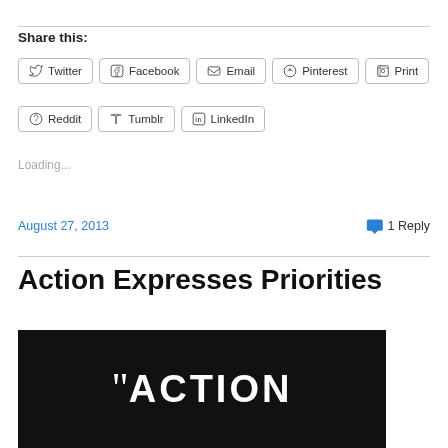Share this:
Twitter | Facebook | Email | Pinterest | Print
Reddit | Tumblr | LinkedIn
Loading...
August 27, 2013
1 Reply
Action Expresses Priorities
[Figure (photo): Black image with white bold text reading "ACTION in large capital letters with an open quotation mark]